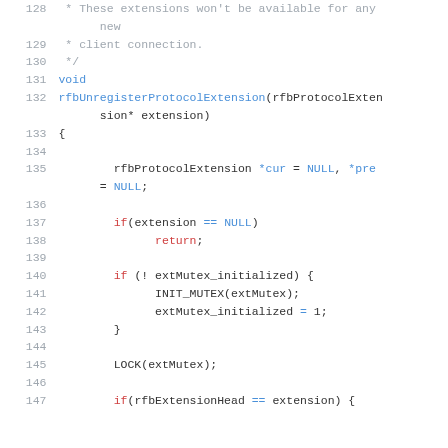Source code listing lines 128-147 of a C function rfbUnregisterProtocolExtension
128: * These extensions won't be available for any new
129:  * client connection.
130:  */
131: void
132: rfbUnregisterProtocolExtension(rfbProtocolExtension* extension)
133: {
134: (empty)
135:     rfbProtocolExtension *cur = NULL, *pre = NULL;
136: (empty)
137:     if(extension == NULL)
138:         return;
139: (empty)
140:     if (! extMutex_initialized) {
141:         INIT_MUTEX(extMutex);
142:         extMutex_initialized = 1;
143:     }
144: (empty)
145:     LOCK(extMutex);
146: (empty)
147:     if(rfbExtensionHead == extension) {